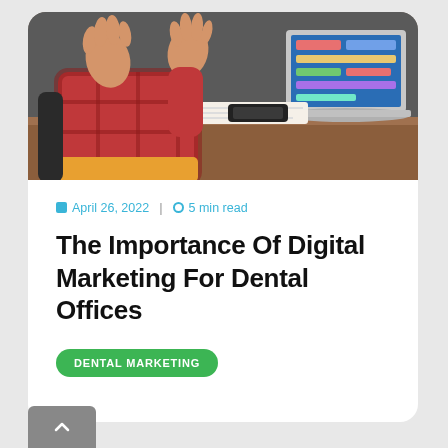[Figure (photo): Person in plaid shirt with hands raised talking at a desk with a laptop, notebook, and phone in a meeting or office setting]
April 26, 2022  |  5 min read
The Importance Of Digital Marketing For Dental Offices
DENTAL MARKETING